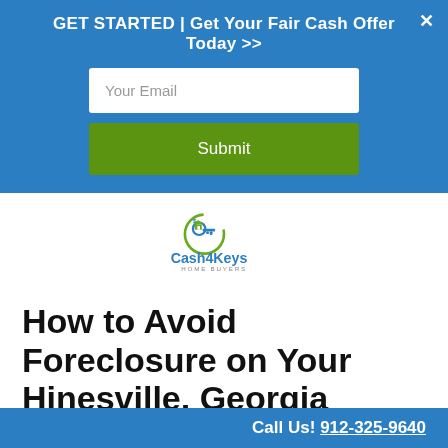GET STARTED | Get Your Fair Cash Offer Today >>
[Figure (logo): Cash4Keys Home Buyers logo with a key and house icon in a circular green arc, with blue and green text]
How to Avoid Foreclosure on Your Hinesville, Georgia House
Call Us! 912-325-9640